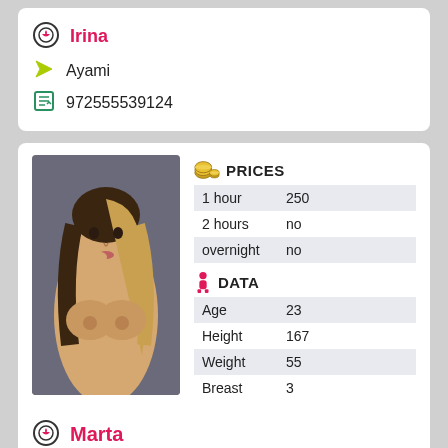Irina
Ayami
972555539124
[Figure (photo): Young woman with long brown-blonde hair, posed looking at camera]
|  | PRICES |  |
| --- | --- | --- |
| 1 hour | 250 |
| 2 hours | no |
| overnight | no |
|  | DATA |  |
| --- | --- | --- |
| Age | 23 |
| Height | 167 |
| Weight | 55 |
| Breast | 3 |
Marta
Ayami
972559715963